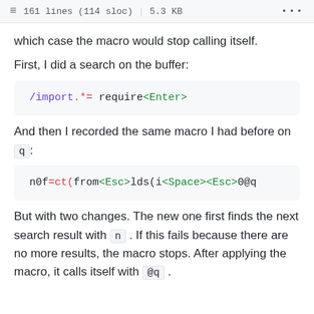161 lines (114 sloc) | 5.3 KB
which case the macro would stop calling itself.
First, I did a search on the buffer:
[Figure (screenshot): Code block showing: /import.*= require<Enter>]
And then I recorded the same macro I had before on q:
[Figure (screenshot): Code block showing: n0f=ct(from<Esc>lds(i<Space><Esc>0@q]
But with two changes. The new one first finds the next search result with n . If this fails because there are no more results, the macro stops. After applying the macro, it calls itself with @q .